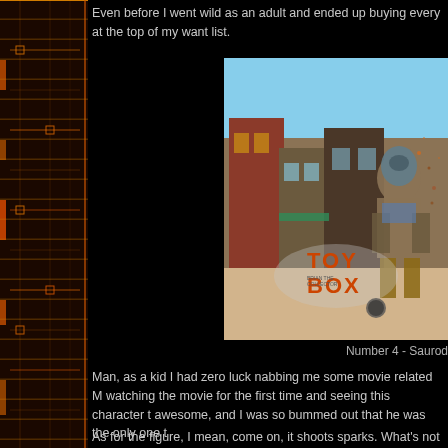Even before I went wild as an adult and ended up buying every at the top of my want list.
[Figure (photo): A robotic/armored action figure character (Saurod) running in front of a western-style town street scene, with a 'TOY BOX' watermark overlay.]
Number 4 - Saurod
Man, as a kid I had zero luck nabbing me some movie related M watching the movie for the first time and seeing this character t awesome, and I was so bummed out that he was the only one t
As for the figure, I mean, come on, it shoots sparks. What's not self getting up to check this one, I know my Saurod still shoots s